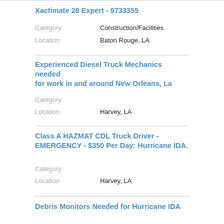Xactimate 28 Expert - 9733355
Category: Construction/Facilities
Location: Baton Rouge, LA
Experienced Diesel Truck Mechanics needed for work in and around New Orleans, La
Category:
Location: Harvey, LA
Class A HAZMAT CDL Truck Driver - EMERGENCY - $350 Per Day: Hurricane IDA.
Category:
Location: Harvey, LA
Debris Monitors Needed for Hurricane IDA